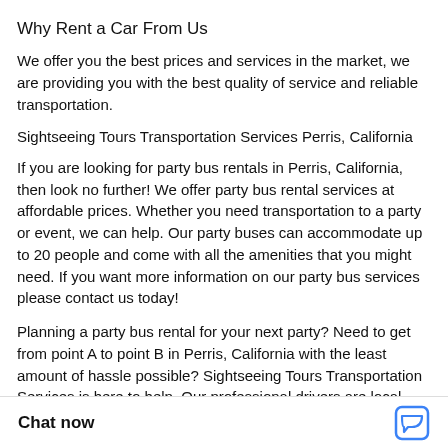Why Rent a Car From Us
We offer you the best prices and services in the market, we are providing you with the best quality of service and reliable transportation.
Sightseeing Tours Transportation Services Perris, California
If you are looking for party bus rentals in Perris, California, then look no further! We offer party bus rental services at affordable prices. Whether you need transportation to a party or event, we can help. Our party buses can accommodate up to 20 people and come with all the amenities that you might need. If you want more information on our party bus services please contact us today!
Planning a party bus rental for your next party? Need to get from point A to point B in Perris, California with the least amount of hassle possible? Sightseeing Tours Transportation Services is here to help. Our professional drivers are local experts, so they know the best routes and shortcuts th... bus rentals as well as sigh... popular destinations in So...